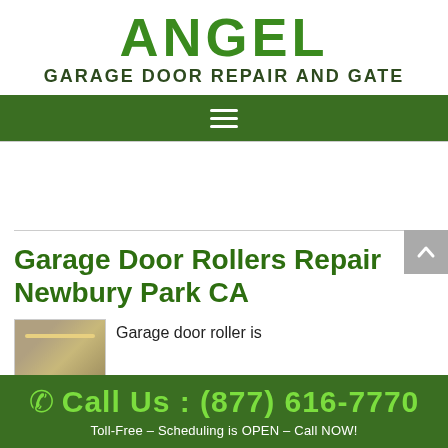[Figure (logo): Angel Garage Door Repair and Gate logo with large green ANGEL text and dark green subtitle]
Navigation bar with hamburger menu icon
Garage Door Rollers Repair Newbury Park CA
[Figure (photo): Thumbnail photo of garage door rollers/tracks]
Garage door roller is
Call Us : (877) 616-7770
Toll-Free – Scheduling is OPEN – Call NOW!